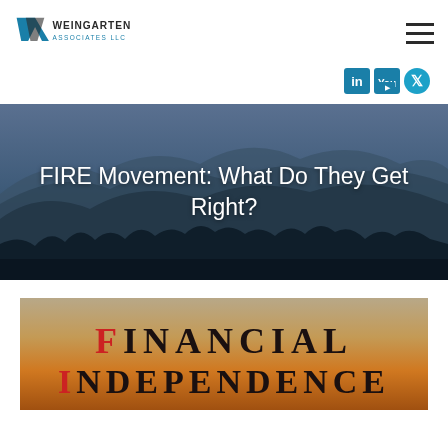[Figure (logo): Weingarten Associates LLC logo with stylized W/V monogram in teal/dark colors]
[Figure (infographic): Hamburger menu icon (three horizontal lines) for navigation]
[Figure (infographic): Social media icons: LinkedIn, YouTube, Twitter in teal/blue squares]
FIRE Movement: What Do They Get Right?
[Figure (photo): Mountain landscape at dusk with dark blue layered ridgelines and silhouetted trees in foreground]
[Figure (illustration): Text graphic showing 'FINANCIAL INDEPENDENCE' in bold serif letters with F and I highlighted in red, on warm gradient background]